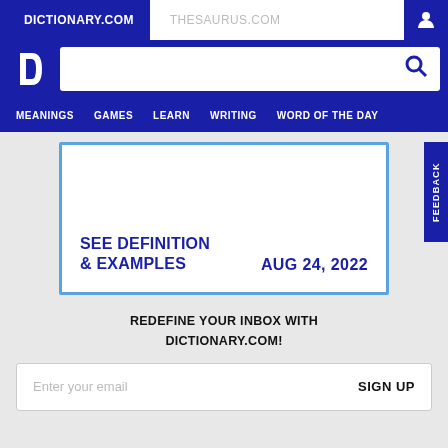DICTIONARY.COM   THESAURUS.COM
[Figure (screenshot): Dictionary.com logo and search bar]
MEANINGS   GAMES   LEARN   WRITING   WORD OF THE DAY
SEE DEFINITION & EXAMPLES   AUG 24, 2022
REDEFINE YOUR INBOX WITH DICTIONARY.COM!
Enter your email   SIGN UP